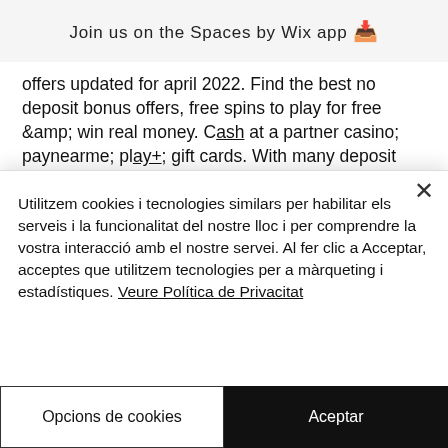Join us on the Spaces by Wix app
offers updated for april 2022. Find the best no deposit bonus offers, free spins to play for free &amp; win real money. Cash at a partner casino; paynearme; play+; gift cards. With many deposit choices available, you'll be able to get your money into your sportsbook account in no. Bobby casino gives a $200 free chip to all new players, no deposit are required. Just sign up a new account and redeem the code bobby200. Claim 10 free spins x10p each on book of
Utilitzem cookies i tecnologies similars per habilitar els serveis i la funcionalitat del nostre lloc i per comprendre la vostra interacció amb el nostre servei. Al fer clic a Acceptar, acceptes que utilitzem tecnologies per a màrqueting i estadístiques. Veure Política de Privacitat
Opcions de cookies
Aceptar